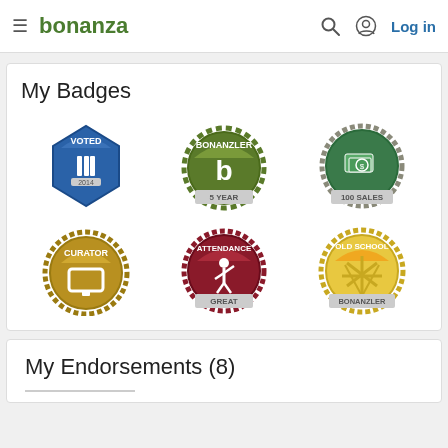bonanza  Log in
My Badges
[Figure (illustration): Six achievement badges in a 3x2 grid: 'VOTED 2014' (blue shield with medal), 'BONANZLER 5 YEAR' (green circle with b), '100 SALES' (green/grey circle with dollar bills), 'CURATOR' (gold gear circle with sign), 'ATTENDANCE GREAT' (dark red circle with person), 'OLD SCHOOL BONANZLER' (gold sunburst circle)]
My Endorsements (8)